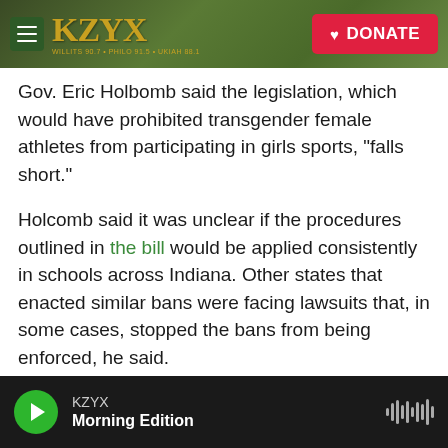[Figure (screenshot): KZYX radio station website header with hamburger menu, KZYX logo in gold, green forest background, and red DONATE button]
Gov. Eric Holbomb said the legislation, which would have prohibited transgender female athletes from participating in girls sports, "falls short."
Holcomb said it was unclear if the procedures outlined in the bill would be applied consistently in schools across Indiana. Other states that enacted similar bans were facing lawsuits that, in some cases, stopped the bans from being enforced, he said.
Holcomb added that he was unconvinced by supporters' arguments that there is an existing problem in K-12 sports in Indiana that requires the
KZYX
Morning Edition